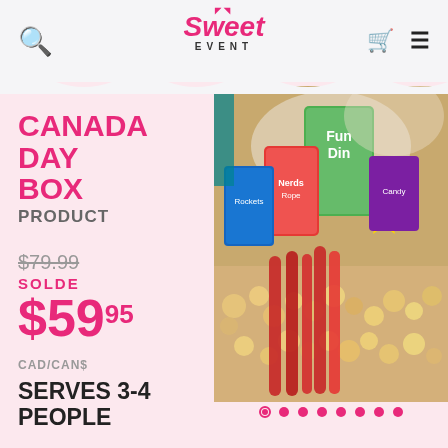Sweet Event
CANADA DAY BOX
PRODUCT
$79.99
SOLDE
$59.95
CAD/CAN$
SERVES 3-4 PEOPLE
[Figure (photo): A basket filled with Canadian candy including Fun Dip, Nerds Rope, Rockets and other colorful candies arranged in a gift box with popcorn]